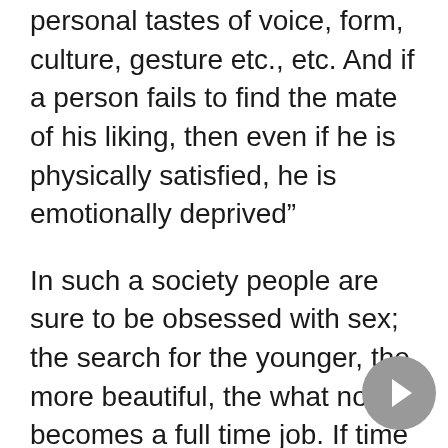personal tastes of voice, form, culture, gesture etc., etc. And if a person fails to find the mate of his liking, then even if he is physically satisfied, he is emotionally deprived"
In such a society people are sure to be obsessed with sex; the search for the younger, the more beautiful, the what not becomes a full time job. If time is a valuable asset then much of it is unnecessarily wasted in such a society. And this leads inevitably and naturally to the commercialisation of this human need, a commercialisation which through advertisements, pictures, specialised